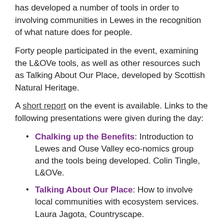has developed a number of tools in order to involving communities in Lewes in the recognition of what nature does for people.
Forty people participated in the event, examining the L&OVe tools, as well as other resources such as Talking About Our Place, developed by Scottish Natural Heritage.
A short report on the event is available. Links to the following presentations were given during the day:
Chalking up the Benefits: Introduction to Lewes and Ouse Valley eco-nomics group and the tools being developed. Colin Tingle, L&OVe.
Talking About Our Place: How to involve local communities with ecosystem services. Laura Jagota, Countryscape.
Recognition of values among beneficiaries and providers of ecosystem services. Sacha Rogers, Penny Anderson Associates.
Short introduction to issues around the valuation of ecosystem services: a new economics perspective. Chris Williams, New Economics Foundation.